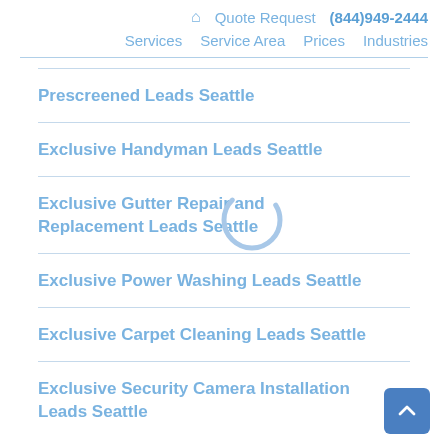🏠 Quote Request (844)949-2444
Services  Service Area  Prices  Industries
Prescreened Leads Seattle
Exclusive Handyman Leads Seattle
Exclusive Gutter Repair and Replacement Leads Seattle
Exclusive Power Washing Leads Seattle
Exclusive Carpet Cleaning Leads Seattle
Exclusive Security Camera Installation Leads Seattle